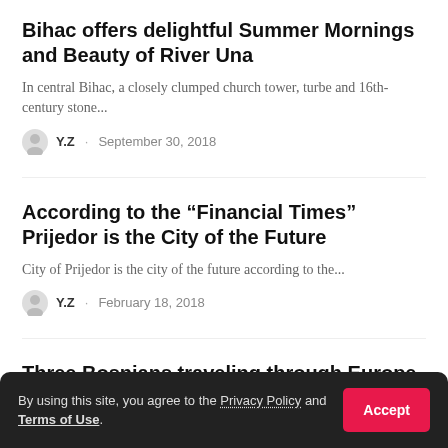Bihac offers delightful Summer Mornings and Beauty of River Una
In central Bihac, a closely clumped church tower, turbe and 16th-century stone...
Y.Z · September 30, 2018
According to the “Financial Times” Prijedor is the City of the Future
City of Prijedor is the city of the future according to the...
Y.Z · February 18, 2018
Three Bosnians traveling through Europe in Fico, crossing Thousands of Kilometers
Amar and Nezir Camo from Gorazde and traveling Europe in their
By using this site, you agree to the Privacy Policy and Terms of Use.